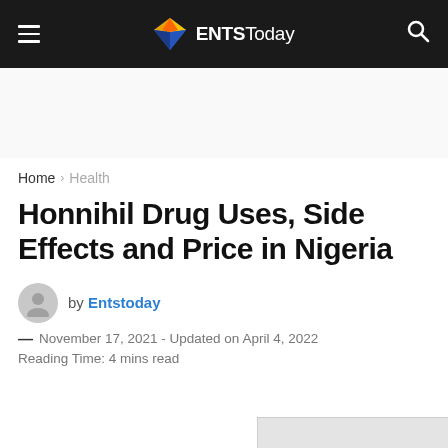ENTSToday
Home > Health
Honnihil Drug Uses, Side Effects and Price in Nigeria
by Entstoday
— November 17, 2021 - Updated on April 4, 2022
Reading Time: 4 mins read